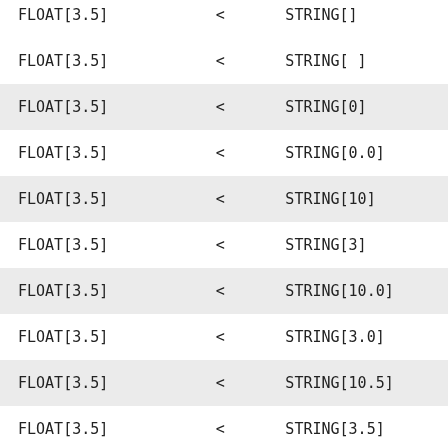| FLOAT[3.5] | < | STRING[] |
| FLOAT[3.5] | < | STRING[ ] |
| FLOAT[3.5] | < | STRING[0] |
| FLOAT[3.5] | < | STRING[0.0] |
| FLOAT[3.5] | < | STRING[10] |
| FLOAT[3.5] | < | STRING[3] |
| FLOAT[3.5] | < | STRING[10.0] |
| FLOAT[3.5] | < | STRING[3.0] |
| FLOAT[3.5] | < | STRING[10.5] |
| FLOAT[3.5] | < | STRING[3.5] |
| FLOAT[3.5] | < | STRING[-10] |
| FLOAT[3.5] | < | STRING[-3] |